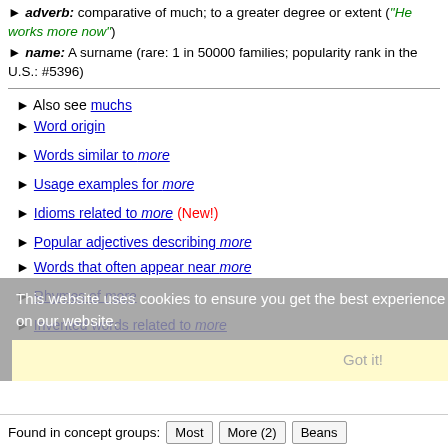► adverb: comparative of much; to a greater degree or extent ("He works more now")
► name: A surname (rare: 1 in 50000 families; popularity rank in the U.S.: #5396)
► Also see muchs
► Word origin
► Words similar to more
► Usage examples for more
► Idioms related to more (New!)
► Popular adjectives describing more
► Words that often appear near more
► Rhymes of more
► Invented words related to more
This website uses cookies to ensure you get the best experience on our website.
Got it!
Found in concept groups:
Most  More (2)  Beans